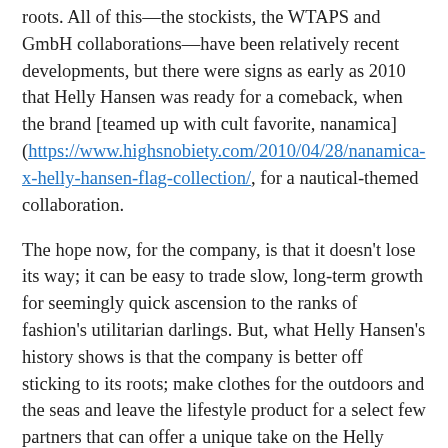roots. All of this—the stockists, the WTAPS and GmbH collaborations—have been relatively recent developments, but there were signs as early as 2010 that Helly Hansen was ready for a comeback, when the brand [teamed up with cult favorite, nanamica] (https://www.highsnobiety.com/2010/04/28/nanamica-x-helly-hansen-flag-collection/, for a nautical-themed collaboration.
The hope now, for the company, is that it doesn't lose its way; it can be easy to trade slow, long-term growth for seemingly quick ascension to the ranks of fashion's utilitarian darlings. But, what Helly Hansen's history shows is that the company is better off sticking to its roots; make clothes for the outdoors and the seas and leave the lifestyle product for a select few partners that can offer a unique take on the Helly Hansen brand. Helly Hansen's new owner, Canadian Tire—the Canadian equivalent of a hypothetical Lowe's and Wal-Mart love child—is definitely not one to dabble in cool brands, so the acquisition of the Norwegian brand should help calm any desires to trade